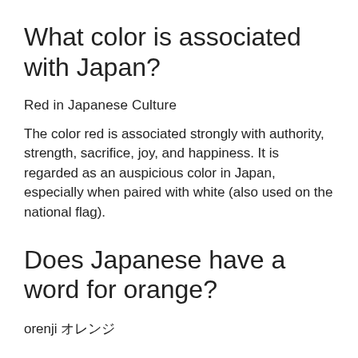What color is associated with Japan?
Red in Japanese Culture
The color red is associated strongly with authority, strength, sacrifice, joy, and happiness. It is regarded as an auspicious color in Japan, especially when paired with white (also used on the national flag).
Does Japanese have a word for orange?
orenji オレンジ